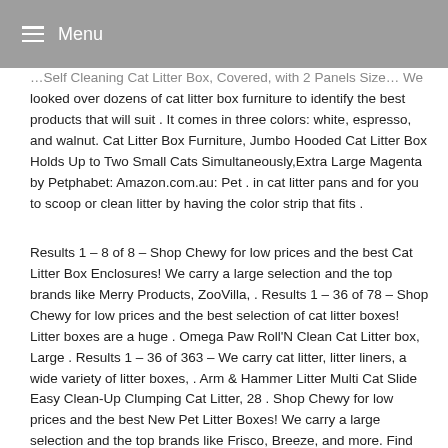Menu
…Self Cleaning Cat Litter Box, Covered, with 2 Panels Size… We looked over dozens of cat litter box furniture to identify the best products that will suit . It comes in three colors: white, espresso, and walnut. Cat Litter Box Furniture, Jumbo Hooded Cat Litter Box Holds Up to Two Small Cats Simultaneously,Extra Large Magenta by Petphabet: Amazon.com.au: Pet . in cat litter pans and for you to scoop or clean litter by having the color strip that fits .
Results 1 – 8 of 8 – Shop Chewy for low prices and the best Cat Litter Box Enclosures! We carry a large selection and the top brands like Merry Products, ZooVilla, . Results 1 – 36 of 78 – Shop Chewy for low prices and the best selection of cat litter boxes! Litter boxes are a huge . Omega Paw Roll'N Clean Cat Litter box, Large . Results 1 – 36 of 363 – We carry cat litter, litter liners, a wide variety of litter boxes, . Arm & Hammer Litter Multi Cat Slide Easy Clean-Up Clumping Cat Litter, 28 . Shop Chewy for low prices and the best New Pet Litter Boxes! We carry a large selection and the top brands like Frisco, Breeze, and more. Find everything you . Buy Designer Pet Products Catbox